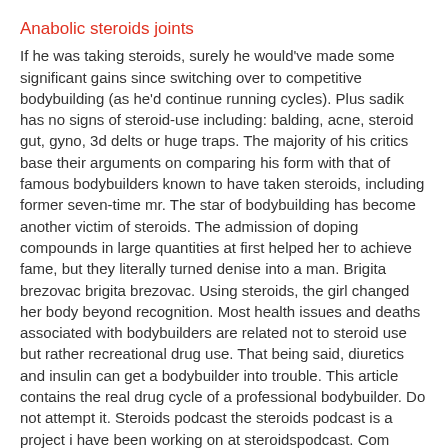Anabolic steroids joints
If he was taking steroids, surely he would've made some significant gains since switching over to competitive bodybuilding (as he'd continue running cycles). Plus sadik has no signs of steroid-use including: balding, acne, steroid gut, gyno, 3d delts or huge traps. The majority of his critics base their arguments on comparing his form with that of famous bodybuilders known to have taken steroids, including former seven-time mr. The star of bodybuilding has become another victim of steroids. The admission of doping compounds in large quantities at first helped her to achieve fame, but they literally turned denise into a man. Brigita brezovac brigita brezovac. Using steroids, the girl changed her body beyond recognition. Most health issues and deaths associated with bodybuilders are related not to steroid use but rather recreational drug use. That being said, diuretics and insulin can get a bodybuilder into trouble. This article contains the real drug cycle of a professional bodybuilder. Do not attempt it. Steroids podcast the steroids podcast is a project i have been working on at steroidspodcast. Com when i wrote the best book in the history of bodybuilding "ultimate guide to roids" read more... d I have